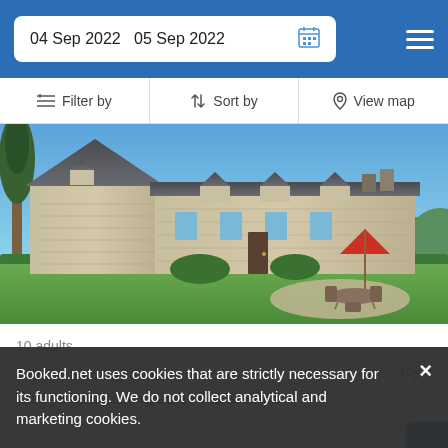04 Sep 2022  05 Sep 2022
Filter by  Sort by  View map
[Figure (photo): Stone French country house with steep pitched roof, outdoor dining set with red umbrella, surrounded by green lawn and hedges under blue sky]
10 adults
1400 yd from City Center
1100 yd from Communauté Filles St Esprit
Booked.net uses cookies that are strictly necessary for its functioning. We do not collect analytical and marketing cookies.